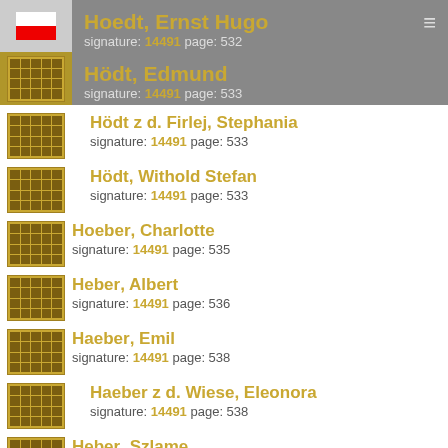Hoedt, Ernst Hugo — signature: 14491 page: 532
Hödt, Edmund — signature: 14491 page: 533
Hödt z d. Firlej, Stephania — signature: 14491 page: 533
Hödt, Withold Stefan — signature: 14491 page: 533
Hoeber, Charlotte — signature: 14491 page: 535
Heber, Albert — signature: 14491 page: 536
Haeber, Emil — signature: 14491 page: 538
Haeber z d. Wiese, Eleonora — signature: 14491 page: 538
Heber, Szlame — signature: 14491 page: 539
Höber, Willi — signature: 14491 page: 541
Höber z d. Salzwig, Charlotte — signature: 14491 page: 541